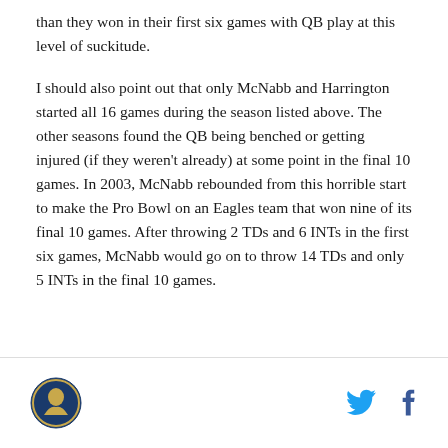than they won in their first six games with QB play at this level of suckitude.
I should also point out that only McNabb and Harrington started all 16 games during the season listed above. The other seasons found the QB being benched or getting injured (if they weren't already) at some point in the final 10 games. In 2003, McNabb rebounded from this horrible start to make the Pro Bowl on an Eagles team that won nine of its final 10 games. After throwing 2 TDs and 6 INTs in the first six games, McNabb would go on to throw 14 TDs and only 5 INTs in the final 10 games.
[logo] [twitter] [facebook]